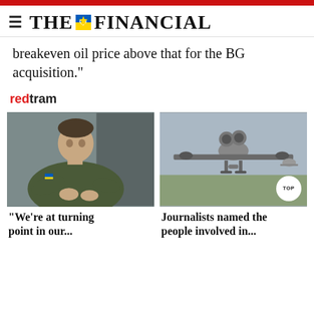THE FINANCIAL
breakeven oil price above that for the BG acquisition."
redtram
[Figure (photo): Photo of a man in military olive-green attire sitting and speaking, with a Ukrainian flag badge on his sleeve.]
[Figure (photo): Photo of military drone aircraft in flight over landscape, with a TOP badge overlay.]
"We're at turning point in our..."
Journalists named the people involved in...